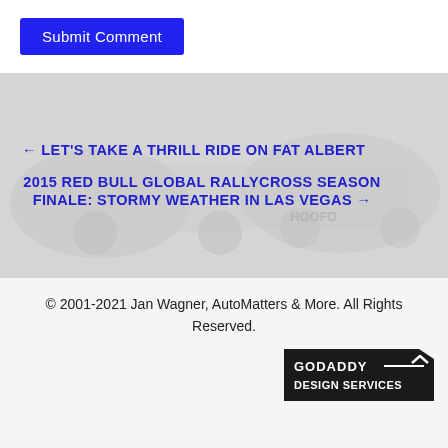Submit Comment
[Figure (screenshot): Navigation section with faded background image of a car, containing previous and next post links in bold blue uppercase text]
← LET'S TAKE A THRILL RIDE ON FAT ALBERT
2015 RED BULL GLOBAL RALLYCROSS SEASON FINALE: STORMY WEATHER IN LAS VEGAS →
© 2001-2021 Jan Wagner, AutoMatters & More. All Rights Reserved.
[Figure (logo): GoDaddy Design Services logo badge in black with white text]